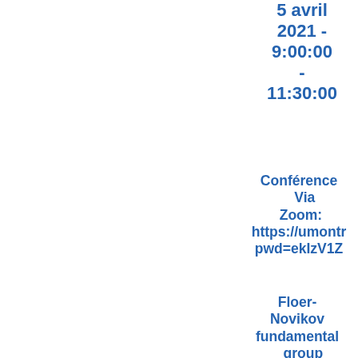5 avril 2021 - 9:00:00 - 11:30:00
Conférence Via Zoom: https://umontr pwd=ekIzV1Z
Floer-Novikov fundamental group for symplectic isotopies
Jean-François Barraud